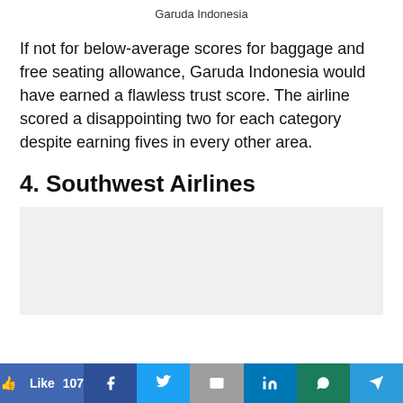Garuda Indonesia
If not for below-average scores for baggage and free seating allowance, Garuda Indonesia would have earned a flawless trust score. The airline scored a disappointing two for each category despite earning fives in every other area.
4. Southwest Airlines
[Figure (other): Light gray placeholder image box for Southwest Airlines section]
Like 107 | Facebook | Twitter | Email | LinkedIn | WhatsApp | Telegram